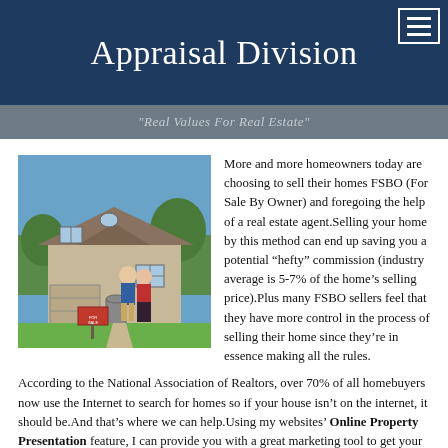Appraisal Division
"Real Values For Real Estate"
[Figure (photo): A couple (man in blue shirt, woman in red) standing in front of a large brick house with a For Sale sign in the yard.]
More and more homeowners today are choosing to sell their homes FSBO (For Sale By Owner) and foregoing the help of a real estate agent.Selling your home by this method can end up saving you a potential “hefty” commission (industry average is 5-7% of the home’s selling price).Plus many FSBO sellers feel that they have more control in the process of selling their home since they’re in essence making all the rules.
According to the National Association of Realtors, over 70% of all homebuyers now use the Internet to search for homes so if your house isn’t on the internet, it should be.And that’s where we can help.Using my websites’ Online Property Presentation feature, I can provide you with a great marketing tool to get your home on the web in front of potential buyers.
Here’s how it works. You order an appraisal from us via our website.  Once the